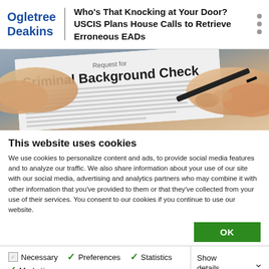Who's That Knocking at Your Door? USCIS Plans House Calls to Retrieve Erroneous EADs
[Figure (photo): Photo of hands signing a 'Request for Criminal Background Check' document with a pen]
This website uses cookies
We use cookies to personalize content and ads, to provide social media features and to analyze our traffic. We also share information about your use of our site with our social media, advertising and analytics partners who may combine it with other information that you've provided to them or that they've collected from your use of their services. You consent to our cookies if you continue to use our website.
OK
Necessary
Preferences
Statistics
Marketing
Show details